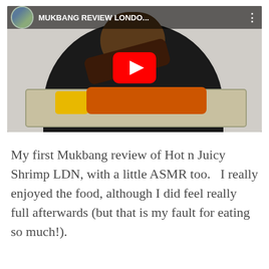[Figure (screenshot): YouTube video thumbnail/embed showing a woman holding food over a large aluminium tray filled with shrimp and corn. The video title reads 'MUKBANG REVIEW LONDO...' with a channel avatar in the top-left, three-dots menu on the right, and a red YouTube play button in the center.]
My first Mukbang review of Hot n Juicy Shrimp LDN, with a little ASMR too.   I really enjoyed the food, although I did feel really full afterwards (but that is my fault for eating so much!).